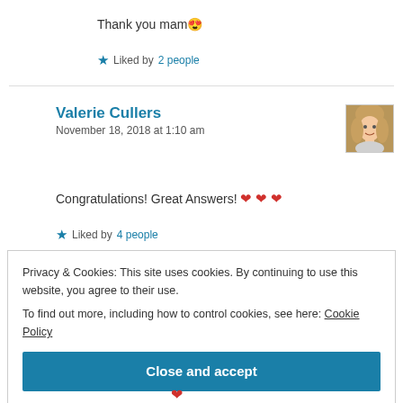Thank you mam 😍
★ Liked by 2 people
Valerie Cullers
November 18, 2018 at 1:10 am
Congratulations! Great Answers! ❤ ❤ ❤
★ Liked by 4 people
Privacy & Cookies: This site uses cookies. By continuing to use this website, you agree to their use.
To find out more, including how to control cookies, see here: Cookie Policy
Close and accept